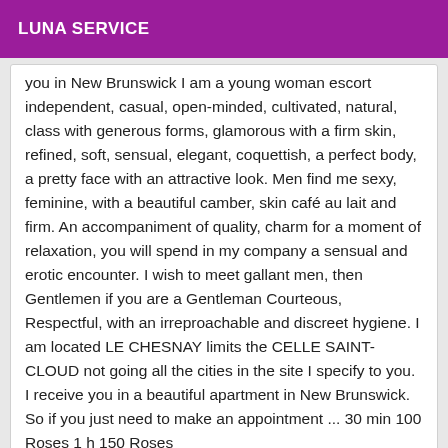LUNA SERVICE
you in New Brunswick I am a young woman escort independent, casual, open-minded, cultivated, natural, class with generous forms, glamorous with a firm skin, refined, soft, sensual, elegant, coquettish, a perfect body, a pretty face with an attractive look. Men find me sexy, feminine, with a beautiful camber, skin café au lait and firm. An accompaniment of quality, charm for a moment of relaxation, you will spend in my company a sensual and erotic encounter. I wish to meet gallant men, then Gentlemen if you are a Gentleman Courteous, Respectful, with an irreproachable and discreet hygiene. I am located LE CHESNAY limits the CELLE SAINT-CLOUD not going all the cities in the site I specify to you. I receive you in a beautiful apartment in New Brunswick. So if you just need to make an appointment ... 30 min 100 Roses 1 h 150 Roses